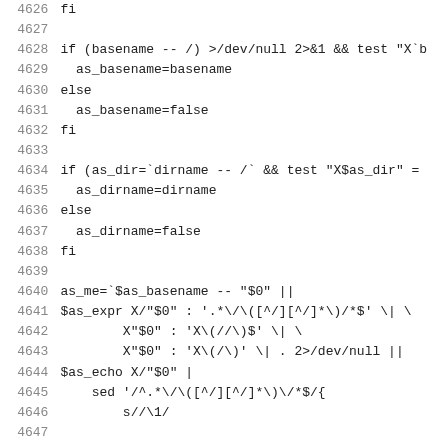4626   fi
4627
4628   if (basename -- /) >/dev/null 2>&1 && test "X`b
4629     as_basename=basename
4630   else
4631     as_basename=false
4632   fi
4633
4634   if (as_dir=`dirname -- /` && test "X$as_dir" =
4635     as_dirname=dirname
4636   else
4637     as_dirname=false
4638   fi
4639
4640   as_me=`$as_basename -- "$0" ||
4641   $as_expr X/"$0" : '.*/\([^/][^/]*\)/*$' \| \
4642           X"$0" : 'X\(//\)$' \| \
4643           X"$0" : 'X\(/\)' \| . 2>/dev/null ||
4644   $as_echo X/"$0" |
4645       sed '/^.*\/\([^/][^/]*\)\/*$/{  
4646           s//\1/
4647